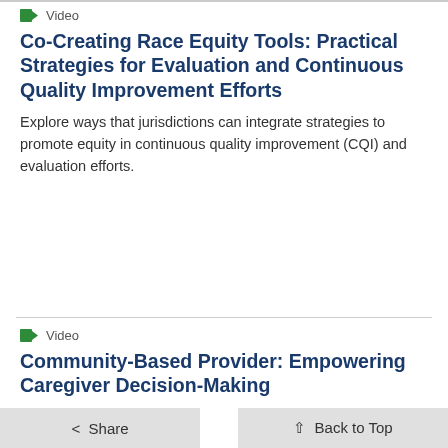Video
Co-Creating Race Equity Tools: Practical Strategies for Evaluation and Continuous Quality Improvement Efforts
Explore ways that jurisdictions can integrate strategies to promote equity in continuous quality improvement (CQI) and evaluation efforts.
Video
Community-Based Provider: Empowering Caregiver Decision-Making
...ohen's story about being a community-based provider delivering services in Florida, th...